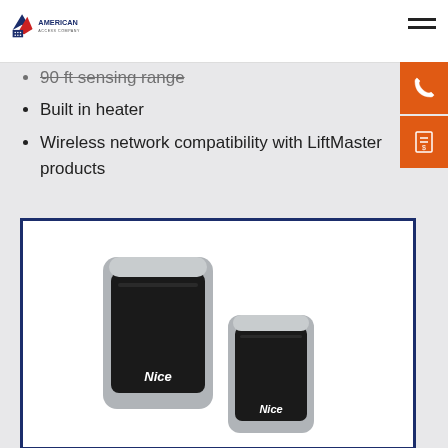American Access Company
90 ft sensing range
Built in heater
Wireless network compatibility with LiftMaster products
[Figure (photo): Two Nice brand wireless safety sensors/photocells, one larger and one smaller, with silver and black housing, both branded with 'Nice' logo, displayed against a white background inside a dark blue border.]